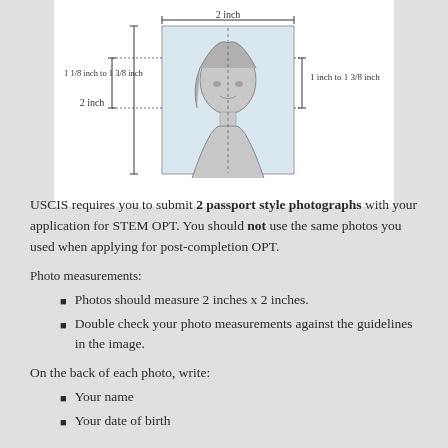[Figure (illustration): Passport photo dimension diagram showing a person's head and shoulders inside a 2x2 inch box, with dimension annotations: 2 inch width at top, 2 inch height on left, 1 inch to 1 3/8 inch for head height on right, and 1 1/8 inch to 1 3/8 inch for head/chin on the left.]
USCIS requires you to submit 2 passport style photographs with your application for STEM OPT.  You should not use the same photos you used when applying for post-completion OPT.
Photo measurements:
Photos should measure 2 inches x 2 inches.
Double check your photo measurements against the guidelines in the image.
On the back of each photo, write:
Your name
Your date of birth